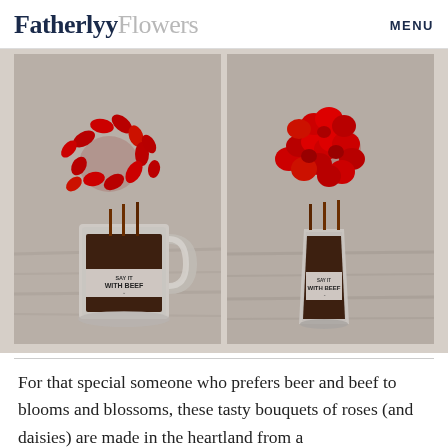Fatherly Flowers  MENU
[Figure (photo): Two side-by-side photos of beef jerky flower bouquets arranged in glass containers labeled 'WITH BEEF' — the left in a beer mug with daisy-shaped jerky, the right in a tall glass with rose-shaped jerky, both on a rustic wood surface.]
For that special someone who prefers beer and beef to blooms and blossoms, these tasty bouquets of roses (and daisies) are made in the heartland from a